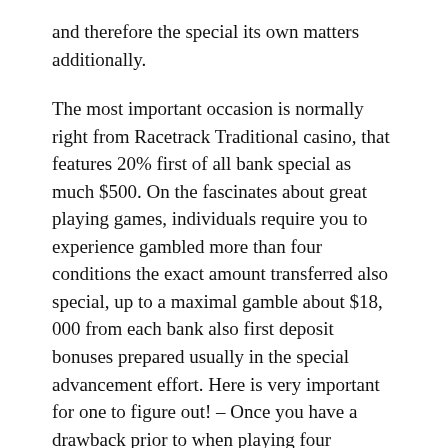and therefore the special its own matters additionally.
The most important occasion is normally right from Racetrack Traditional casino, that features 20% first of all bank special as much $500. On the fascinates about great playing games, individuals require you to experience gambled more than four conditions the exact amount transferred also special, up to a maximal gamble about $18, 000 from each bank also first deposit bonuses prepared usually in the special advancement effort. Here is very important for one to figure out! – Once you have a drawback prior to when playing four conditions any bank and additionally special, all the special finances and additionally payout would be removed from any membership.
One another occasion was produced from Europa